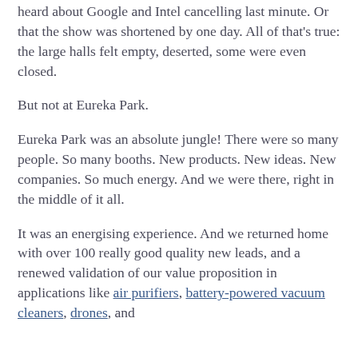heard about Google and Intel cancelling last minute. Or that the show was shortened by one day. All of that's true: the large halls felt empty, deserted, some were even closed.
But not at Eureka Park.
Eureka Park was an absolute jungle! There were so many people. So many booths. New products. New ideas. New companies. So much energy. And we were there, right in the middle of it all.
It was an energising experience. And we returned home with over 100 really good quality new leads, and a renewed validation of our value proposition in applications like air purifiers, battery-powered vacuum cleaners, drones, and